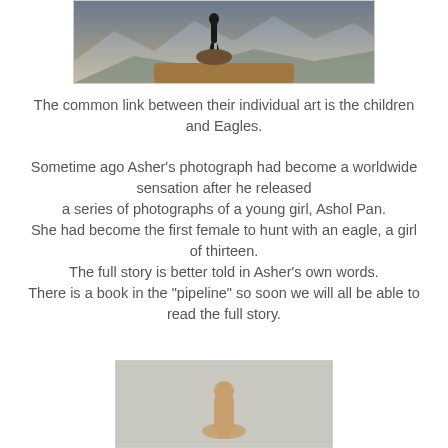[Figure (photo): A silhouette of a person standing on a rocky outcrop overlooking a mountainous landscape with snowy peaks and dramatic sky.]
The common link between their individual art is the children and Eagles.
Sometime ago Asher's photograph had become a worldwide sensation after he released a series of photographs of a young girl, Ashol Pan. She had become the first female to hunt with an eagle, a girl of thirteen. The full story is better told in Asher's own words. There is a book in the "pipeline" so soon we will all be able to read the full story.
[Figure (photo): A close-up photo of what appears to be a hand or finger against a light gray background.]